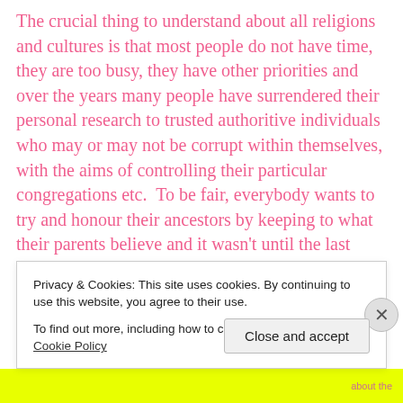The crucial thing to understand about all religions and cultures is that most people do not have time, they are too busy, they have other priorities and over the years many people have surrendered their personal research to trusted authoritive individuals who may or may not be corrupt within themselves, with the aims of controlling their particular congregations etc.  To be fair, everybody wants to try and honour their ancestors by keeping to what their parents believe and it wasn't until the last century or so, that humanity in general were largely uneducated due to class differentiation and lack of opportunities,
Privacy & Cookies: This site uses cookies. By continuing to use this website, you agree to their use.
To find out more, including how to control cookies, see here: Cookie Policy